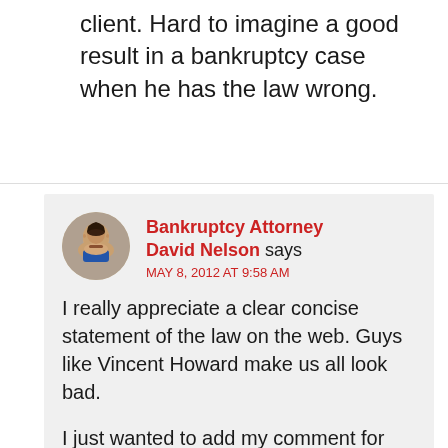client. Hard to imagine a good result in a bankruptcy case when he has the law wrong.
Bankruptcy Attorney David Nelson says MAY 8, 2012 AT 9:58 AM
I really appreciate a clear concise statement of the law on the web. Guys like Vincent Howard make us all look bad.
I just wanted to add my comment for two reasons, first if you are contemplating